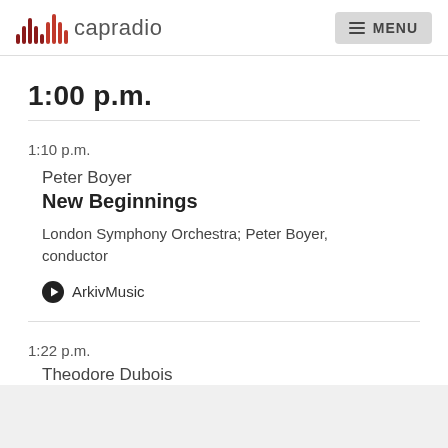capradio | MENU
1:00 p.m.
1:10 p.m.
Peter Boyer
New Beginnings
London Symphony Orchestra; Peter Boyer, conductor
ArkivMusic
1:22 p.m.
Theodore Dubois